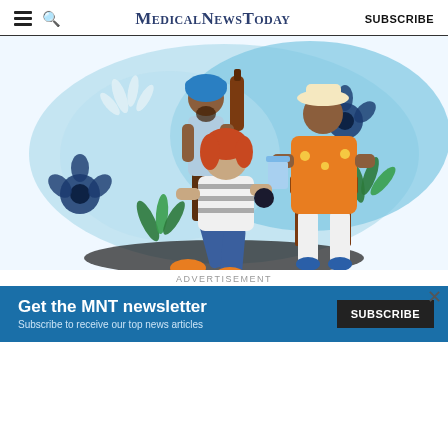MedicalNewsToday | SUBSCRIBE
[Figure (illustration): Colorful illustration of three diverse people in a light blue background with flowers and plants: a person in a blue turban carrying a brown bottle, an older person in an orange floral shirt sitting in a chair, and a young woman with red hair sitting on the floor.]
BEZZY COMMUNITY
...
ADVERTISEMENT
Get the MNT newsletter
Subscribe to receive our top news articles
SUBSCRIBE